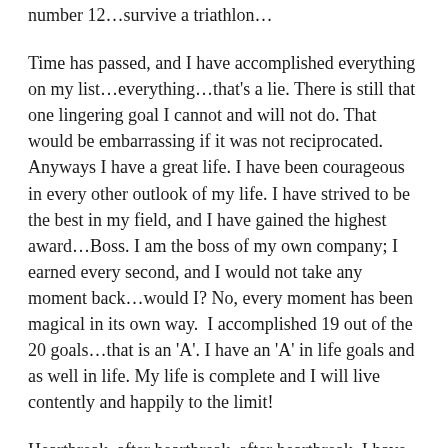number 12…survive a triathlon…
Time has passed, and I have accomplished everything on my list…everything…that's a lie. There is still that one lingering goal I cannot and will not do. That would be embarrassing if it was not reciprocated. Anyways I have a great life. I have been courageous in every other outlook of my life. I have strived to be the best in my field, and I have gained the highest award…Boss. I am the boss of my own company; I earned every second, and I would not take any moment back…would I? No, every moment has been magical in its own way.  I accomplished 19 out of the 20 goals…that is an 'A'. I have an 'A' in life goals and as well in life. My life is complete and I will live contently and happily to the limit!
Heartbreak, after heartbreak, after heartbreak. I have given my heart to every man that has loved me, but in the end they always break me. Again we danced, we ate dinner, we laughed the night away, and then the moment of which I thought he